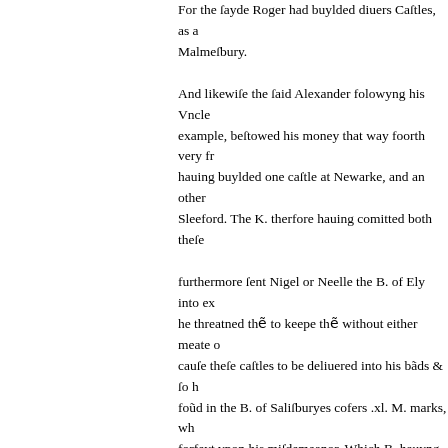For the ſayde Roger had buylded diuers Caſtles, as at Malmeſbury. And likewiſe the ſaid Alexander folowyng his Vncles example, beſtowed his money that way foorth very freely, hauing buylded one caſtle at Newarke, and an other at Sleeford. The K. therfore hauing comitted both theſe furthermore ſent Nigel or Neelle the B. of Ely into exile, he threatned thẽ to keepe thẽ without either meate or drinke, cauſe theſe caſtles to be deliuered into his bãds & ſo he foũd in the B. of Saliſburyes cofers .xl. M. marks, wh forfeyt vpon his miſdemeanor. Which B. hauyng receiued from the king, & taking thought for the loſſe of his houſes & money, within a while after. The quarrel which was firſt piked vppon a fray whiche chanced betwixt the biſhops men & the king his men at their côming to Oxford. In which affray one of the duke his folkes ſore beaten & chaſed. And hereupõ were the biſhops depriued of their plafure, as partly ye haue heard. And this, good reader, is to be marked of fickle fortunes incõſtãcy. This Roger B. of Saliſbury ſerued Will. Rufus a poore prieſt ſeruyng a cure in a village Henry the kings broþer came thither on a time, & ca